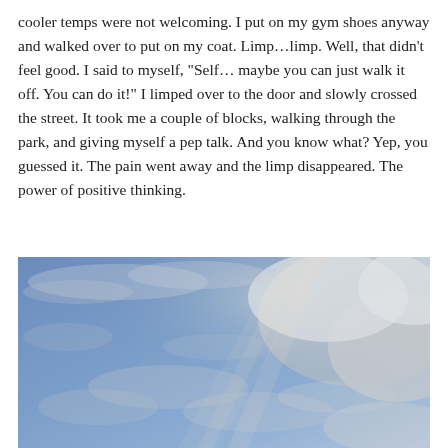cooler temps were not welcoming. I put on my gym shoes anyway and walked over to put on my coat. Limp…limp. Well, that didn't feel good. I said to myself, "Self… maybe you can just walk it off. You can do it!" I limped over to the door and slowly crossed the street. It took me a couple of blocks, walking through the park, and giving myself a pep talk. And you know what? Yep, you guessed it. The pain went away and the limp disappeared. The power of positive thinking.
[Figure (photo): A sky photograph showing blue sky with wispy clouds and soft light rays breaking through the clouds.]